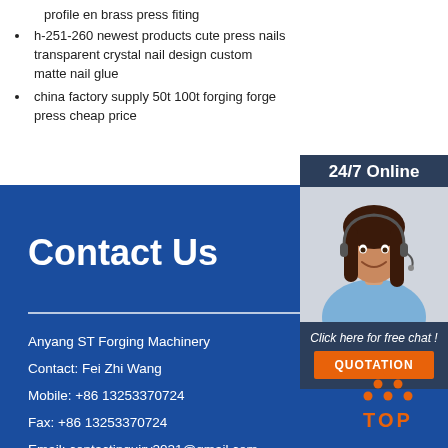profile en brass press fiting
h-251-260 newest products cute press nails transparent crystal nail design custom matte nail glue
china factory supply 50t 100t forging forge press cheap price
Contact Us
Anyang ST Forging Machinery
Contact: Fei Zhi Wang
Mobile: +86 13253370724
Fax: +86 13253370724
Email: contactinquiry2021@gmail.com
Address:68 Renmin Avenue, Beiguan District, Anyang City, Henan Province, China
[Figure (photo): Customer service representative with headset, smiling. Sidebar panel with 24/7 Online text, photo, Click here for free chat text, and QUOTATION button.]
[Figure (logo): TOP logo with orange dots arranged in triangle/arch shape above the word TOP in orange letters]